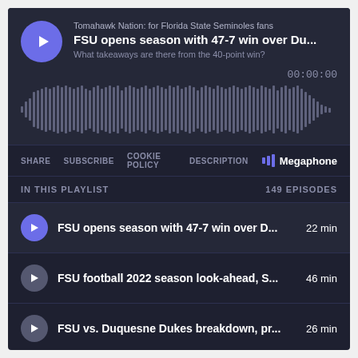Tomahawk Nation: for Florida State Seminoles fans
FSU opens season with 47-7 win over Du...
What takeaways are there from the 40-point win?
00:00:00
[Figure (other): Audio waveform visualization for podcast episode]
SHARE  SUBSCRIBE  COOKIE POLICY  DESCRIPTION
Megaphone
IN THIS PLAYLIST
149 EPISODES
FSU opens season with 47-7 win over D...  22 min
FSU football 2022 season look-ahead, S...  46 min
FSU vs. Duquesne Dukes breakdown, pr...26 min
FSU HC Mike Norvell, coordinators previo...  1 hr